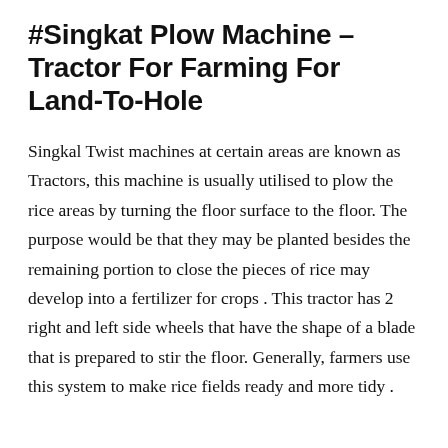#Singkat Plow Machine – Tractor For Farming For Land-To-Hole
Singkal Twist machines at certain areas are known as Tractors, this machine is usually utilised to plow the rice areas by turning the floor surface to the floor. The purpose would be that they may be planted besides the remaining portion to close the pieces of rice may develop into a fertilizer for crops . This tractor has 2 right and left side wheels that have the shape of a blade that is prepared to stir the floor. Generally, farmers use this system to make rice fields ready and more tidy .